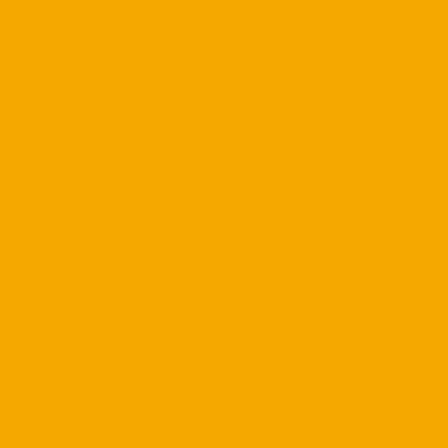execute simple plays the last ... themselves.
A talented Canes team regre... bears a lot of blame.
Here is the deal: When your p... says they have "potential," its... upperclassmen and someone... Right now, its an insult to say... potential because their best p... played as well as they shoul...
But I believe in Al Golden's p... much better product on the fi... the Canes have potential but...
I can't wait for this football se...
Posted by: WindyCane-Forcast1 |
« Previou...
The comments to this entry are closed.